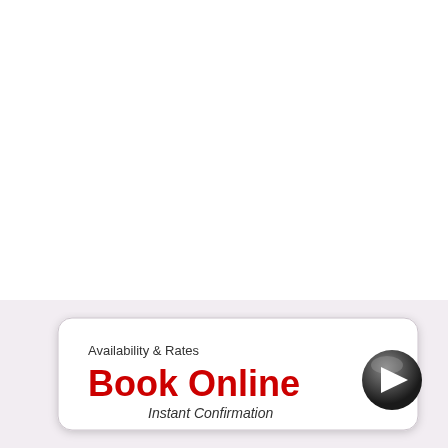[Figure (other): A booking button/widget on a light pink/lavender background. Contains a rounded white rectangle with text: 'Availability & Rates', 'Book Online' in large red bold text, 'Instant Confirmation' in italic, and a dark circular play/arrow button to the right.]